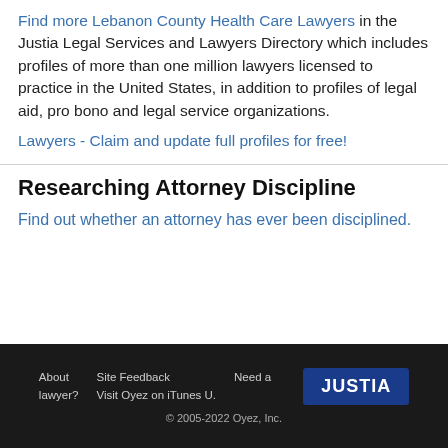Find more Lebanon County Health Care Lawyers in the Justia Legal Services and Lawyers Directory which includes profiles of more than one million lawyers licensed to practice in the United States, in addition to profiles of legal aid, pro bono and legal service organizations.
Lawyers - Claim and update full profiles for free!
Researching Attorney Discipline
Find out whether an attorney has ever been disciplined.
About lawyer?   Site Feedback   Need a   Visit Oyez on iTunes U.   JUSTIA   © 2005-2022 Oyez, Inc.